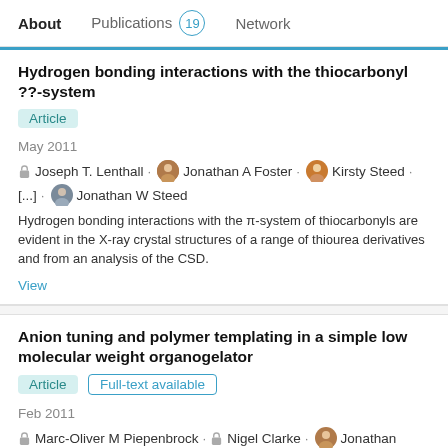About   Publications 19   Network
Hydrogen bonding interactions with the thiocarbonyl ??-system
Article
May 2011
Joseph T. Lenthall · Jonathan A Foster · Kirsty Steed · [...] · Jonathan W Steed
Hydrogen bonding interactions with the π-system of thiocarbonyls are evident in the X-ray crystal structures of a range of thiourea derivatives and from an analysis of the CSD.
View
Anion tuning and polymer templating in a simple low molecular weight organogelator
Article   Full-text available
Feb 2011
Marc-Oliver M Piepenbrock · Nigel Clarke · Jonathan A Foster · Jonathan W Steed